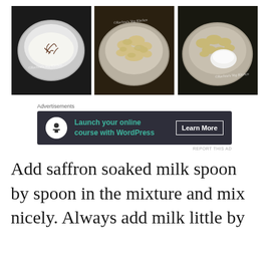[Figure (photo): Three-panel food preparation photo strip: left panel shows saffron strands soaking in milk in a steel bowl with watermark; middle panel shows crumbled mixture in a steel bowl with watermark; right panel shows crumbled mixture with white powdered ingredient in a steel bowl with watermark.]
Advertisements
[Figure (infographic): Dark advertisement banner: icon of a person at a desk on white circle, teal text 'Launch your online course with WordPress', white bordered button 'Learn More']
REPORT THIS AD
Add saffron soaked milk spoon by spoon in the mixture and mix nicely. Always add milk little by